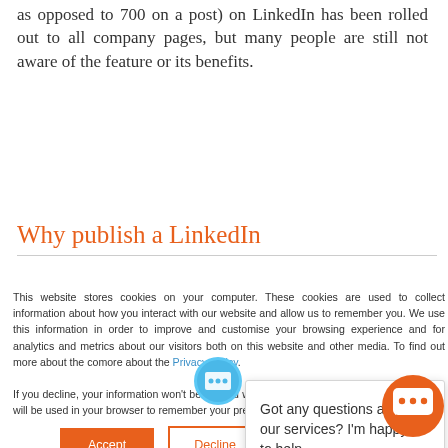as opposed to 700 on a post) on LinkedIn has been rolled out to all company pages, but many people are still not aware of the feature or its benefits.
Why publish a LinkedIn
This website stores cookies on your computer. These cookies are used to collect information about how you interact with our website and allow us to remember you. We use this information in order to improve and customise your browsing experience and for analytics and metrics about our visitors both on this website and other media. To find out more about the cookies we use, see our Privacy Policy.
If you decline, your information won't be tracked when you visit this website. A single cookie will be used in your browser to remember your preference not to be tracked.
[Figure (illustration): Chat widget avatar icon - circular icon with chat/message symbol]
Got any questions about our services? I'm happy to help.
Accept
Decline